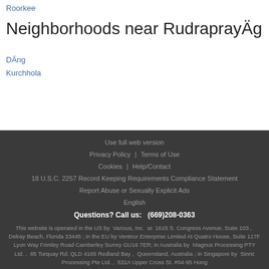Roorkee
Neighborhoods near RudraprayÄg
DÄng
Kurchhola
Use full web version | Privacy Policy | Terms of Use | Cookies | Help/Contact | 18 U.S.C. 2257 Record Keeping Requirements Compliance Statement | Report Abuse or Sexually Explicit Ads | English | Questions? Call us: (669)208-0363 | This website is operated in the US by Various, Inc. at 1615 S. Congress Avenue, Suite 103 , Delray Beach, Florida 33445 ; in the EU by Ventnor Enterprise Limited At Quatro House, Suite 117F Lyon Way Frimley Road Camberley Surrey GU16 7ER; in Australia by Magnus Processing PTY Ltd. , 85 Torquay Rd. QLD 4165 Redland Bay , Queensland, Australia ; in Singapore by Sinric Processing Pte Ltd. , 531A Upper Cross St. #04-95 Hong